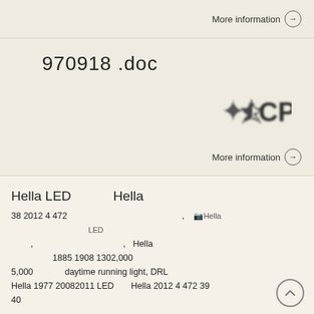More information →
970918  .doc
[Figure (logo): Blurred logo with symbols and CP text]
More information →
Hella LED    Hella
38 2012 4 472  ,  [Hella LED image]  LED  Hella , , 1885 1908 1302,000 Hella 5,000 daytime running light, DRL Hella 1977 20082011 LED Hella 2012 4 472 39 40